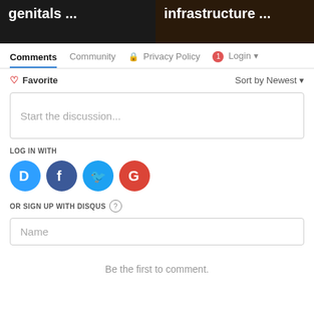[Figure (screenshot): Two dark thumbnail images at top: left shows text 'genitals ...' on dark background, right shows text 'infrastructure ...' on dark background]
Comments   Community   🔒 Privacy Policy   🔴1  Login ▾
♡ Favorite   Sort by Newest ▾
Start the discussion...
LOG IN WITH
[Figure (logo): Social login icons: Disqus (D), Facebook (f), Twitter bird, Google (G)]
OR SIGN UP WITH DISQUS ?
Name
Be the first to comment.